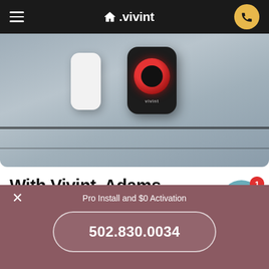Vivint navigation header
[Figure (photo): Photo of Vivint smart home devices mounted on a metallic surface: a white door/window sensor and a black Vivint doorbell camera with red ring, against a brushed metal background.]
With Vivint, Adams residents get affordable home automation
Whether you're moving into a new home, or you want to
Pro Install and $0 Activation
502.830.0034